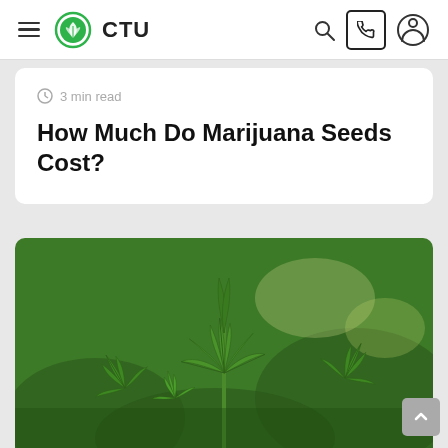CTU
3 min read
How Much Do Marijuana Seeds Cost?
[Figure (photo): Close-up photo of marijuana/cannabis plant with fan leaves, green foliage, outdoor natural lighting]